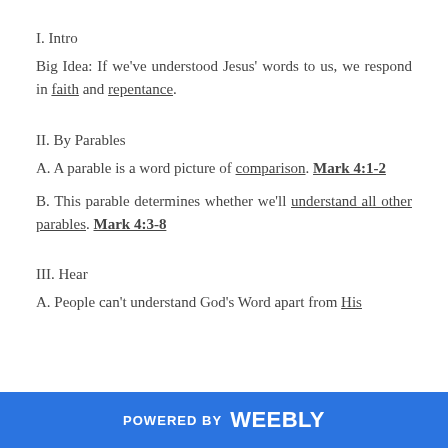I. Intro
Big Idea: If we've understood Jesus' words to us, we respond in faith and repentance.
II. By Parables
A. A parable is a word picture of comparison. Mark 4:1-2
B. This parable determines whether we'll understand all other parables. Mark 4:3-8
III. Hear
A. People can't understand God's Word apart from His
POWERED BY weebly